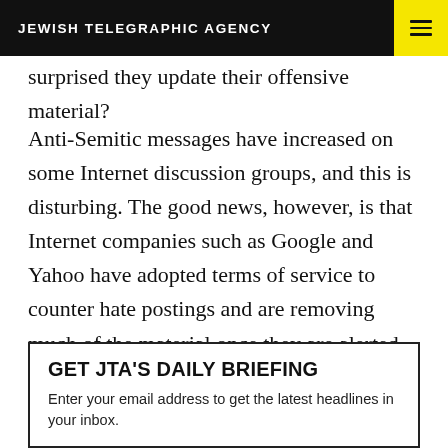JEWISH TELEGRAPHIC AGENCY
surprised they update their offensive material?
Anti-Semitic messages have increased on some Internet discussion groups, and this is disturbing. The good news, however, is that Internet companies such as Google and Yahoo have adopted terms of service to counter hate postings and are removing much of the material once they are alerted to it.
GET JTA'S DAILY BRIEFING
Enter your email address to get the latest headlines in your inbox.